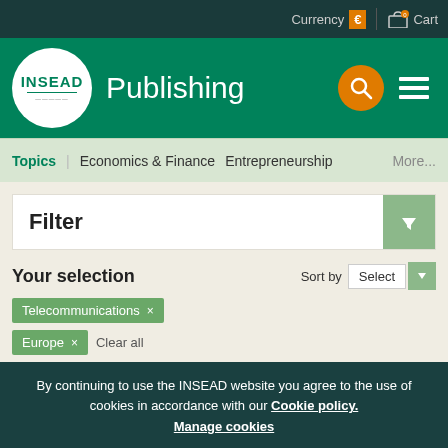Currency € | 0 Cart
[Figure (logo): INSEAD Publishing logo with white circle and green text, search and menu buttons]
Topics | Economics & Finance | Entrepreneurship | More...
Filter
Your selection
Sort by Select
Telecommunications ×
Europe × Clear all
15 cases found
By continuing to use the INSEAD website you agree to the use of cookies in accordance with our Cookie policy.
Manage cookies